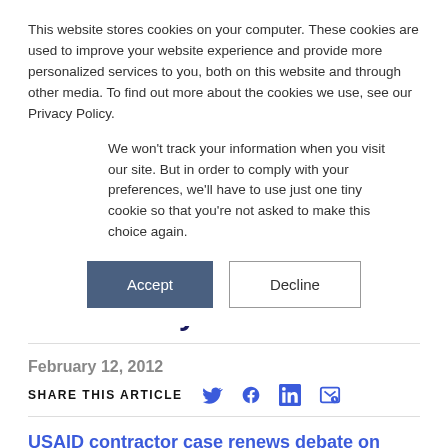This website stores cookies on your computer. These cookies are used to improve your website experience and provide more personalized services to you, both on this website and through other media. To find out more about the cookies we use, see our Privacy Policy.
We won't track your information when you visit our site. But in order to comply with your preferences, we'll have to use just one tiny cookie so that you're not asked to make this choice again.
[Figure (other): Cookie consent buttons: Accept (dark blue filled) and Decline (outlined)]
Democracy Promotion
February 12, 2012
SHARE THIS ARTICLE
USAID contractor case renews debate on